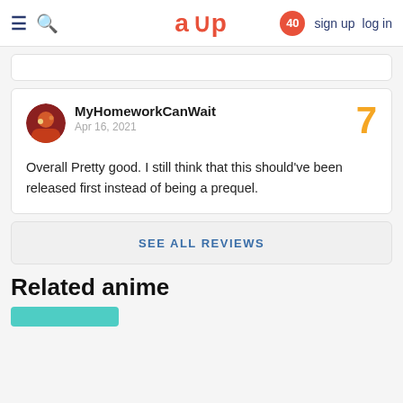aup | sign up  log in | 40
MyHomeworkCanWait
Apr 16, 2021

Overall Pretty good. I still think that this should've been released first instead of being a prequel.

Score: 7
SEE ALL REVIEWS
Related anime